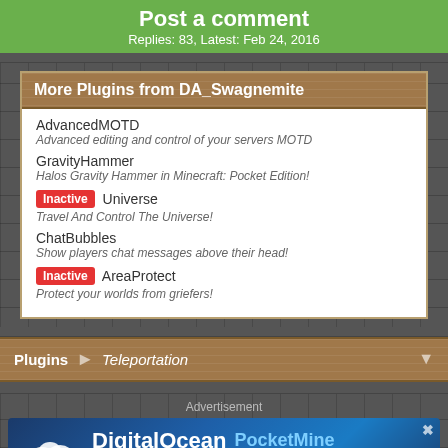Post a comment
Replies: 83, Latest: Feb 24, 2016
More Plugins from DA_Swagnemite
AdvancedMOTD — Advanced editing and control of your servers MOTD
GravityHammer — Halos Gravity Hammer in Minecraft: Pocket Edition!
Inactive Universe — Travel And Control The Universe!
ChatBubbles — Show players chat messages above their head!
Inactive AreaProtect — Protect your worlds from griefers!
Plugins > Teleportation
Advertisement
[Figure (infographic): DigitalOcean PocketMine advertisement banner: Get a VPS server for $5 per month, Host your MCPE server!]